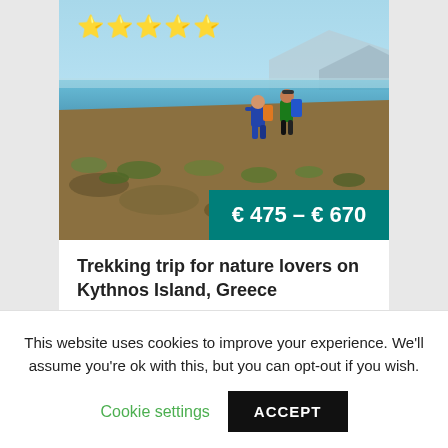[Figure (photo): Two hikers with backpacks trekking on rocky terrain with sea and sky in background; five gold stars overlay top-left; teal price bar bottom-right reading € 475 – € 670]
Trekking trip for nature lovers on Kythnos Island, Greece
Nature holiday on the Greek Island of
This website uses cookies to improve your experience. We'll assume you're ok with this, but you can opt-out if you wish.
Cookie settings
ACCEPT